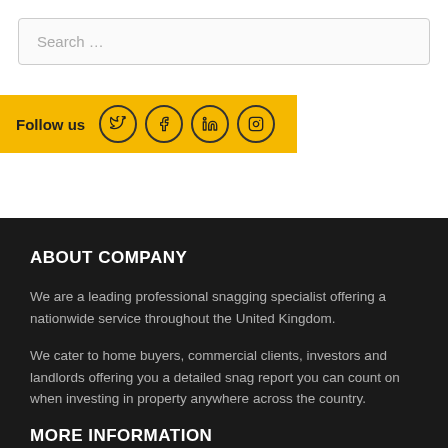Search …
Follow us
ABOUT COMPANY
We are a leading professional snagging specialist offering a nationwide service throughout the United Kingdom.
We cater to home buyers, commercial clients, investors and landlords offering you a detailed snag report you can count on when investing in property anywhere across the country.
MORE INFORMATION